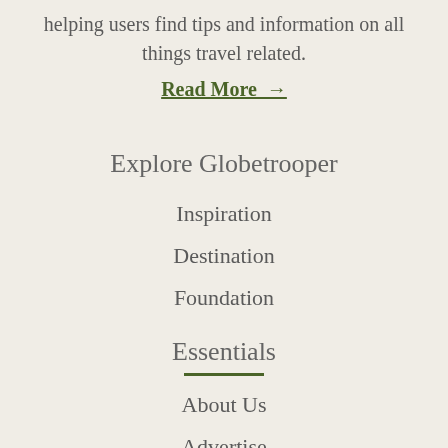helping users find tips and information on all things travel related.
Read More →
Explore Globetrooper
Inspiration
Destination
Foundation
Essentials
About Us
Advertise